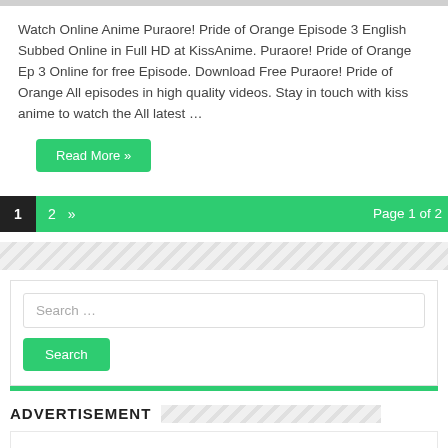Watch Online Anime Puraore! Pride of Orange Episode 3 English Subbed Online in Full HD at KissAnime. Puraore! Pride of Orange Ep 3 Online for free Episode. Download Free Puraore! Pride of Orange All episodes in high quality videos. Stay in touch with kiss anime to watch the All latest …
Read More »
1  2  »  Page 1 of 2
Search …
Search
ADVERTISEMENT